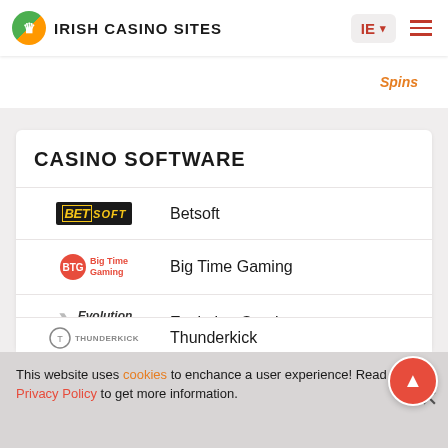IRISH CASINO SITES
Spins
CASINO SOFTWARE
Betsoft
Big Time Gaming
Evolution Gaming
Microgaming
This website uses cookies to enchance a user experience! Read our Privacy Policy to get more information.
Thunderkick (partial)